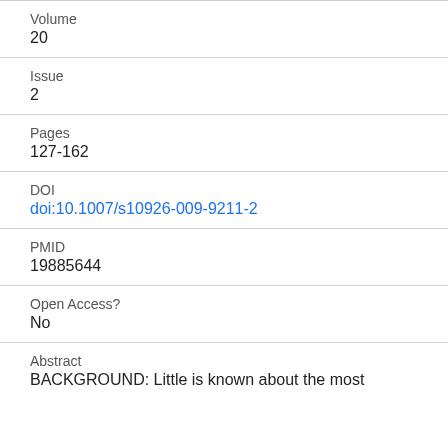Volume
20
Issue
2
Pages
127-162
DOI
doi:10.1007/s10926-009-9211-2
PMID
19885644
Open Access?
No
Abstract
BACKGROUND: Little is known about the most